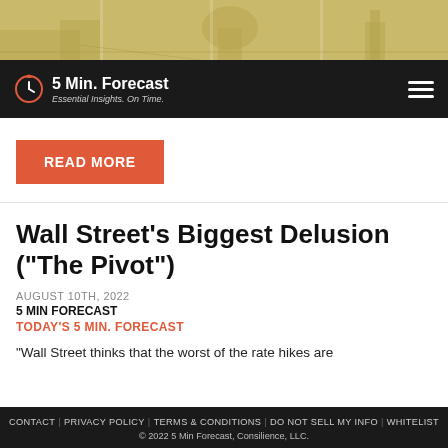[Figure (photo): Sepia-toned cityscape hero image with government building dome and street elements]
5 Min. Forecast — Essential Insights. On Time.
READ MORE
Wall Street's Biggest Delusion ("The Pivot")
AUGUST 10TH, 2022
5 MIN FORECAST
TODAY'S 5 MIN. FORECAST
"Wall Street thinks that the worst of the rate hikes are
CONTACT | PRIVACY POLICY | TERMS & CONDITIONS | DO NOT SELL MY INFO | WHITELIST
© 2022 5 Min Forecast, Consilience, LLC.